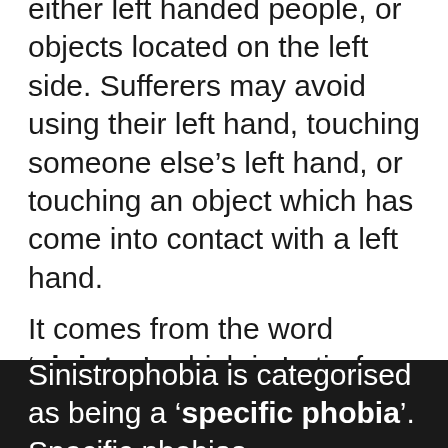either left handed people, or objects located on the left side. Sufferers may avoid using their left hand, touching someone else's left hand, or touching an object which has come into contact with a left hand.
It comes from the word 'sinistro', which is Latin for 'left', and 'phobia' which is the Greek word for 'fear'.
Sinistrophobia is categorised as being a 'specific phobia'. Specific phobias